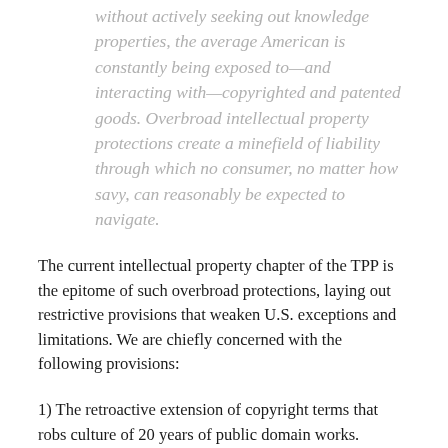without actively seeking out knowledge properties, the average American is constantly being exposed to—and interacting with—copyrighted and patented goods. Overbroad intellectual property protections create a minefield of liability through which no consumer, no matter how savy, can reasonably be expected to navigate.
The current intellectual property chapter of the TPP is the epitome of such overbroad protections, laying out restrictive provisions that weaken U.S. exceptions and limitations. We are chiefly concerned with the following provisions:
1) The retroactive extension of copyright terms that robs culture of 20 years of public domain works.
2) A ban on circumvention of technological protection measures, which threaten people's autonomy over legitimately purchased digital content and devices.